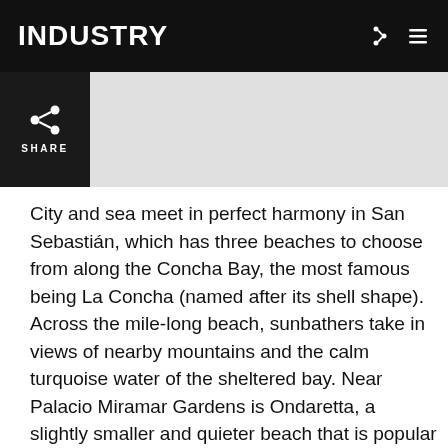INDUSTRY
[Figure (other): Share button with share icon and SHARE label on dark background]
City and sea meet in perfect harmony in San Sebastián, which has three beaches to choose from along the Concha Bay, the most famous being La Concha (named after its shell shape). Across the mile-long beach, sunbathers take in views of nearby mountains and the calm turquoise water of the sheltered bay. Near Palacio Miramar Gardens is Ondaretta, a slightly smaller and quieter beach that is popular with families. Surfers and local youngsters frequent Zurriola in the Gros district for bigger waves. Santa Clara Island, barely 100 feet long, is accessible by jetty from the city harbor. This